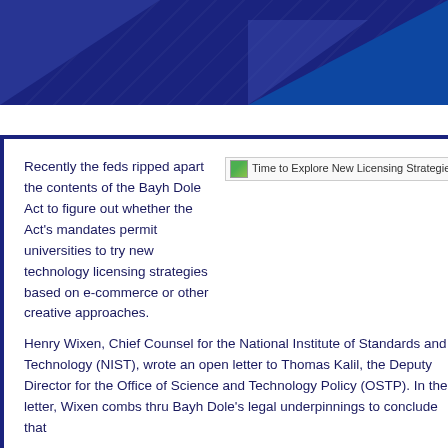[Figure (illustration): Dark blue polygonal geometric header banner]
[Figure (photo): Time to Explore New Licensing Strategies — image with alt text shown as broken image placeholder]
Recently the feds ripped apart the contents of the Bayh Dole Act to figure out whether the Act's mandates permit universities to try new technology licensing strategies based on e-commerce or other creative approaches. Henry Wixen, Chief Counsel for the National Institute of Standards and Technology (NIST), wrote an open letter to Thomas Kalil, the Deputy Director for the Office of Science and Technology Policy (OSTP). In the letter, Wixen combs thru Bayh Dole's legal underpinnings to conclude that